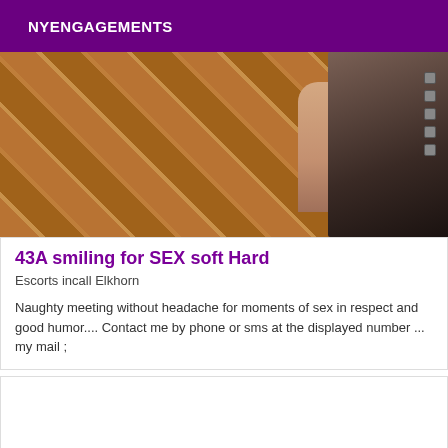NYENGAGEMENTS
[Figure (photo): Photo showing a tiled floor with a person's leg and foot wearing a black studded high heel shoe/sandal]
43A smiling for SEX soft Hard
Escorts incall Elkhorn
Naughty meeting without headache for moments of sex in respect and good humor.... Contact me by phone or sms at the displayed number ... my mail ;